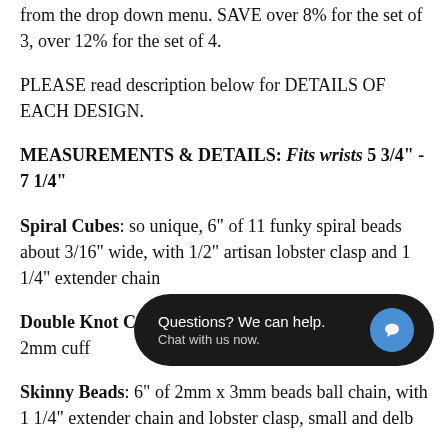from the drop down menu. SAVE over 8% for the set of 3, over 12% for the set of 4.
PLEASE read description below for DETAILS OF EACH DESIGN.
MEASUREMENTS & DETAILS: Fits wrists 5 3/4" - 7 1/4"
Spiral Cubes: so unique, 6" of 11 funky spiral beads about 3/16" wide, with 1/2" artisan lobster clasp and 1 1/4" extender chain
Double Knot Cuff: inverted knots on an adjustable 2mm cuff
[Figure (screenshot): Chat widget overlay: dark rounded rectangle with text 'Questions? We can help.' and 'Chat with us now.' and a blue circle chat icon on the right]
Skinny Beads: 6" of 2mm x 3mm beads ball chain, with 1 1/4" extender chain and lobster clasp, small and delicate